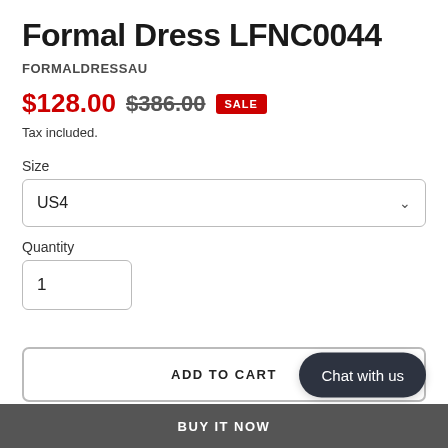Formal Dress LFNC0044
FORMALDRESSAU
$128.00 $386.00 SALE
Tax included.
Size
US4
Quantity
1
ADD TO CART
Chat with us
BUY IT NOW